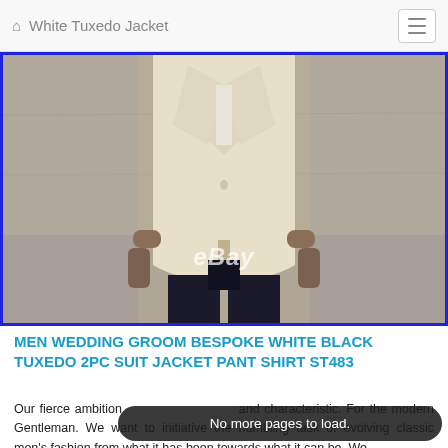White Tuxedo Jacket
[Figure (photo): Man wearing a white/cream tuxedo jacket with black trousers, standing with arms at sides, eBay watermark visible, blue border around image]
MEN WEDDING GROOM BESPOKE WHITE BLACK TUXEDO 2PC SUIT JACKET PANT SHIRT ST483
Our fierce ambition is to be exclusive and characteristic. For the modern Gentleman. We want to initiative the humbling task of evolving classic men's fashion from what it has been towards what it can be. We
No more pages to load.